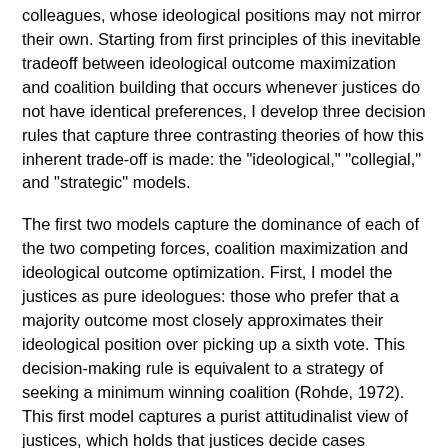colleagues, whose ideological positions may not mirror their own. Starting from first principles of this inevitable tradeoff between ideological outcome maximization and coalition building that occurs whenever justices do not have identical preferences, I develop three decision rules that capture three contrasting theories of how this inherent trade-off is made: the "ideological," "collegial," and "strategic" models.
The first two models capture the dominance of each of the two competing forces, coalition maximization and ideological outcome optimization. First, I model the justices as pure ideologues: those who prefer that a majority outcome most closely approximates their ideological position over picking up a sixth vote. This decision-making rule is equivalent to a strategy of seeking a minimum winning coalition (Rohde, 1972). This first model captures a purist attitudinalist view of justices, which holds that justices decide cases predominantly by reference to their own political preferences (Segal and Spaeth, 1993; Baum, 1994).
Second, I model the justices as "collegials:" those who